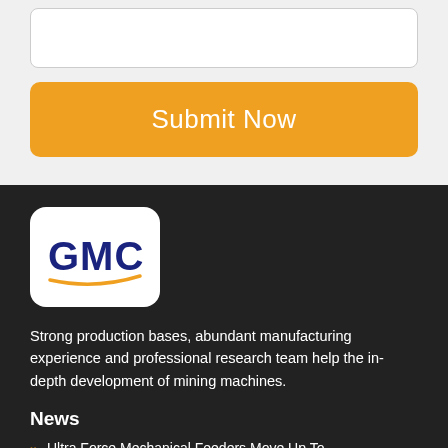[Figure (other): Text input field / textarea, empty, with rounded border]
[Figure (other): Orange Submit Now button with rounded corners]
[Figure (logo): GMC logo: bold blue text GMC with a golden swoosh underline, on white rounded-rectangle background]
Strong production bases, abundant manufacturing experience and professional research team help the in-depth development of mining machines.
News
Ultra Force Mechanical Feeders Move Up To